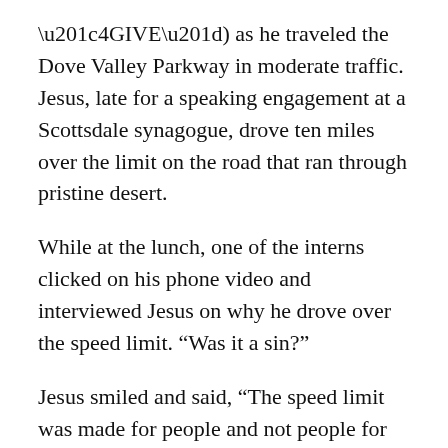“4GIVE”) as he traveled the Dove Valley Parkway in moderate traffic. Jesus, late for a speaking engagement at a Scottsdale synagogue, drove ten miles over the limit on the road that ran through pristine desert.
While at the lunch, one of the interns clicked on his phone video and interviewed Jesus on why he drove over the speed limit. “Was it a sin?”
Jesus smiled and said, “The speed limit was made for people and not people for the speed limit. Put some Soul in your drive!”
The Sedona pastor lacked “SOUL” in his